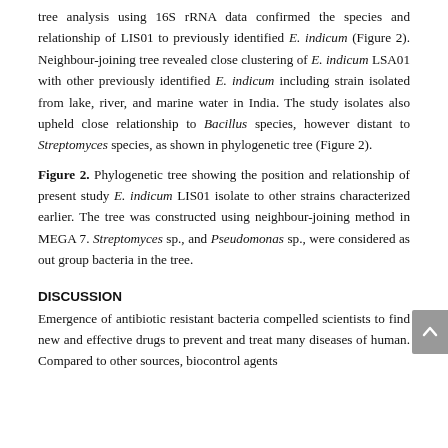tree analysis using 16S rRNA data confirmed the species and relationship of LIS01 to previously identified E. indicum (Figure 2). Neighbour-joining tree revealed close clustering of E. indicum LSA01 with other previously identified E. indicum including strain isolated from lake, river, and marine water in India. The study isolates also upheld close relationship to Bacillus species, however distant to Streptomyces species, as shown in phylogenetic tree (Figure 2).
Figure 2. Phylogenetic tree showing the position and relationship of present study E. indicum LIS01 isolate to other strains characterized earlier. The tree was constructed using neighbour-joining method in MEGA 7. Streptomyces sp., and Pseudomonas sp., were considered as out group bacteria in the tree.
DISCUSSION
Emergence of antibiotic resistant bacteria compelled scientists to find new and effective drugs to prevent and treat many diseases of human. Compared to other sources, biocontrol agents